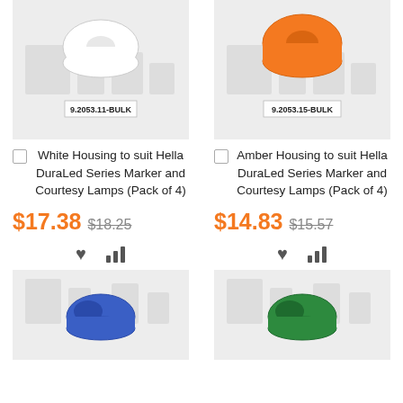[Figure (photo): White housing lamp component (9.2053.11-BULK) on light grey background]
White Housing to suit Hella DuraLed Series Marker and Courtesy Lamps (Pack of 4)
$17.38 $18.25
[Figure (photo): Amber housing lamp component (9.2053.15-BULK) on light grey background]
Amber Housing to suit Hella DuraLed Series Marker and Courtesy Lamps (Pack of 4)
$14.83 $15.57
[Figure (photo): Blue housing lamp component on light grey background]
[Figure (photo): Green housing lamp component on light grey background]